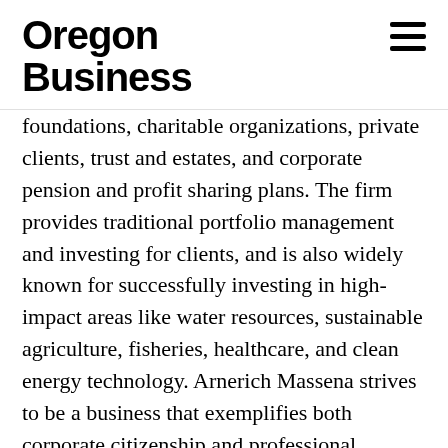Oregon Business
foundations, charitable organizations, private clients, trust and estates, and corporate pension and profit sharing plans. The firm provides traditional portfolio management and investing for clients, and is also widely known for successfully investing in high-impact areas like water resources, sustainable agriculture, fisheries, healthcare, and clean energy technology. Arnerich Massena strives to be a business that exemplifies both corporate citizenship and professional service, and has received awards for its innovations in corporate philanthropy. More information is available at www.arnerichmassena.com.